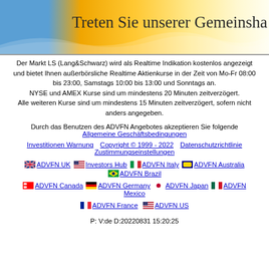[Figure (illustration): Banner with blue and yellow/orange gradient background and text 'Treten Sie unserer Gemeinschaft bei']
Der Markt LS (Lang&Schwarz) wird als Realtime Indikation kostenlos angezeigt und bietet Ihnen außerbörsliche Realtime Aktienkurse in der Zeit von Mo-Fr 08:00 bis 23:00, Samstags 10:00 bis 13:00 und Sonntags an. NYSE und AMEX Kurse sind um mindestens 20 Minuten zeitverzögert. Alle weiteren Kurse sind um mindestens 15 Minuten zeitverzögert, sofern nicht anders angegeben.
Durch das Benutzen des ADVFN Angebotes akzeptieren Sie folgende
Allgemeine Geschäftsbedingungen
Investitionen Warnung    Copyright © 1999 - 2022    Datenschutzrichtlinie
Zustimmungseinstellungen
ADVFN UK   Investors Hub   ADVFN Italy   ADVFN Australia   ADVFN Brazil
ADVFN Canada   ADVFN Germany   ADVFN Japan   ADVFN Mexico
ADVFN France   ADVFN US
P: V:de D:20220831 15:20:25